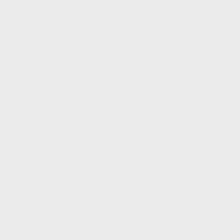ink=Vial(Deionized Water)}}
{{Inventory/Slot|index=5|title=Water Bucket|image=Bucket_water.png|link=http://minecraft.gamepedia.com/Water%20Bucket}}
{{Inventory/Slot|index=6|title=Water Bucket|image=Bucket_